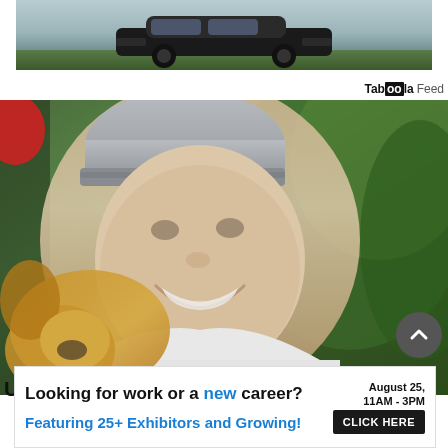[Figure (photo): Top advertisement banner showing a dark vehicle/truck against an outdoor background]
Taboola Feed
[Figure (photo): Photo of a smiling young man wearing a grey beanie hat and white t-shirt, cheek to cheek with a golden/tan colored dog, outdoors with green trees in background]
UPDATE: Missing Strathcona Park hiker
[Figure (other): Advertisement banner reading: Looking for work or a new career? August 25, 11AM - 3PM. Featuring 25+ Exhibitors and Growing! CLICK HERE]